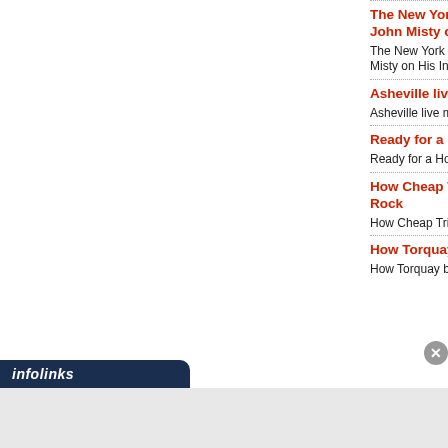The New York Pops to Make Debut at Radio City... John Misty on His International Tour - Broadway Worl...
Asheville live music: UB40, reggae, Amanda Sh...
Ready for a Hot Night? Legends Casino Prese...
How Cheap Trick Explored New Sounds With 'Heaven Tonight' and Hard Rock
How Torquay band Wishbone Ash took rock wo...
[Figure (logo): infolinks logo banner at bottom left with close button]